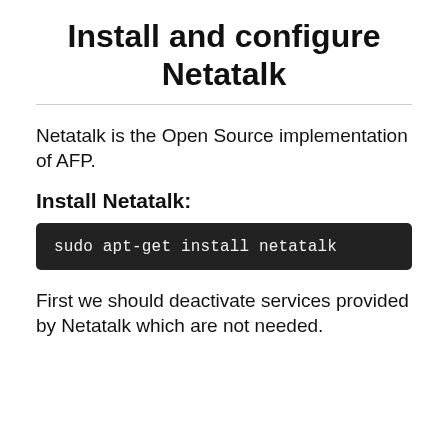Install and configure Netatalk
Netatalk is the Open Source implementation of AFP.
Install Netatalk:
sudo apt-get install netatalk
First we should deactivate services provided by Netatalk which are not needed.